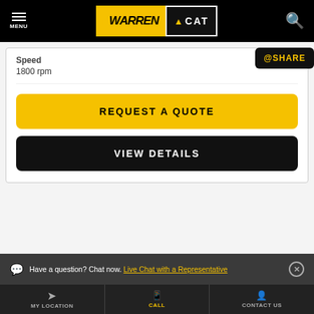MENU | WARREN CAT | Search
Speed
1800 rpm
@SHARE
REQUEST A QUOTE
VIEW DETAILS
Have a question? Chat now. Live Chat with a Representative
MY LOCATION | CALL | CONTACT US